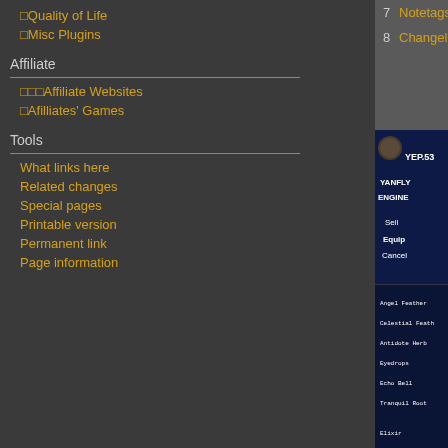🔲Quality of Life
🔲Misc Plugins
Affiliate
🔲🔲🔲Affiliate Websites
🔲Afilliates' Games
Tools
What links here
Related changes
Special pages
Printable version
Permanent link
Page information
7  Notetags
8  Changelog
[Figure (screenshot): YEP.53 - Shop Menu Core screenshot showing Yanfly Engine plugin with shop menu options: Sell, Equip, Cancel, and item list including Angel Feather, Celestial Feather, Antidote Herb, Eyedrops, Echo Bell, Tranquil Root, Elixir]